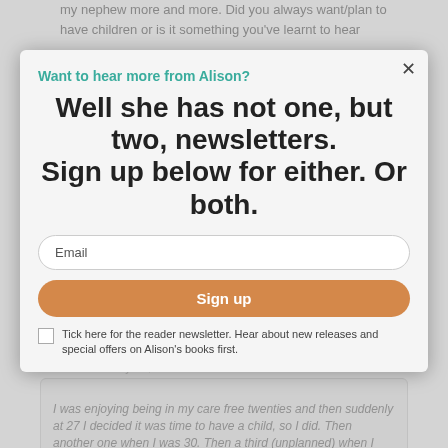my nephew more and more. Did you always want/plan to have children or is it something you've learnt to hear
Want to hear more from Alison?
Well she has not one, but two, newsletters. Sign up below for either. Or both.
Louise
July 30, 2012 at 11:39 am
Email
Sign up
Tick here for the reader newsletter. Hear about new releases and special offers on Alison's books first.
I was enjoying being in my care free twenties and then suddenly at 27 I decided it was time to have a child, so I did. Then another one when I was 30. Then a third (unplanned) when I was 37, then a divorce, meeting my now second husband, and two